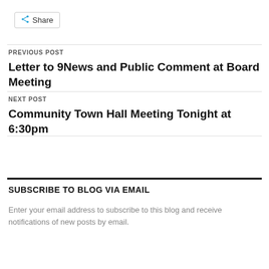[Figure (other): Share button with share icon]
PREVIOUS POST
Letter to 9News and Public Comment at Board Meeting
NEXT POST
Community Town Hall Meeting Tonight at 6:30pm
SUBSCRIBE TO BLOG VIA EMAIL
Enter your email address to subscribe to this blog and receive notifications of new posts by email.